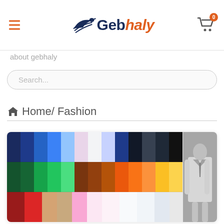Gebhaly - navigation header with hamburger menu, logo, and cart icon with badge 0
about gebhaly
Search...
Home/ Fashion
[Figure (photo): Composite image showing colorful folded Lacoste polo shirts arranged in rows (blues, greens, browns, oranges, yellows, reds, pinks, whites) on the left side, and a black-and-white vintage photograph of a well-dressed man in a white suit holding what appears to be tennis equipment on the right side.]